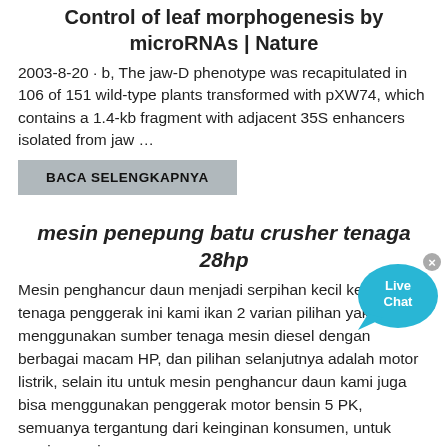Control of leaf morphogenesis by microRNAs | Nature
2003-8-20 · b, The jaw-D phenotype was recapitulated in 106 of 151 wild-type plants transformed with pXW74, which contains a 1.4-kb fragment with adjacent 35S enhancers isolated from jaw …
BACA SELENGKAPNYA
mesin penepung batu crusher tenaga 28hp
Mesin penghancur daun menjadi serpihan kecil kecil Untuk tenaga penggerak ini kami ikan 2 varian pilihan yakni menggunakan sumber tenaga mesin diesel dengan berbagai macam HP, dan pilihan selanjutnya adalah motor listrik, selain itu untuk mesin penghancur daun kami juga bisa menggunakan penggerak motor bensin 5 PK, semuanya tergantung dari keinginan konsumen, untuk masingmasing …
BACA SELENGKAPNYA
Pinion kerucut crusher
Kerucut Crusher crusher kb kerucut Symon Kerucut Crusher 3Mobile Crusher The mobile crushing plant has the advantages of …